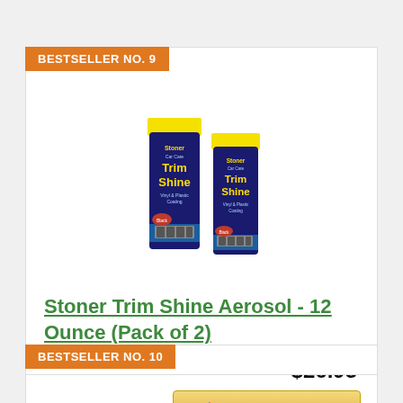BESTSELLER NO. 9
[Figure (photo): Two Stoner Car Care Trim Shine aerosol spray cans (12 oz each), with yellow caps and dark blue/black labels featuring a truck grille graphic.]
Stoner Trim Shine Aerosol - 12 Ounce (Pack of 2)
$26.95
Buy On Amazon
BESTSELLER NO. 10